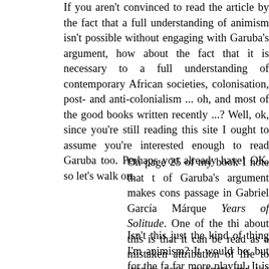If you aren't convinced to read the article by the fact that a full understanding of animism isn't possible without engaging with Garuba's argument, how about the fact that it is necessary to a full understanding of contemporary African societies, colonisation, post- and anti-colonialism ... oh, and most of the good books written recently ...? Well, ok, since you're still reading this site I ought to assume you're interested enough to read Garuba too. Perhaps you already have! OK, so let's walk on.
On page 25 of my book I note that the of Garuba's argument makes cons passage in Gabriel García Márque Years of Solitude. One of the thi about this is that it can be read as a mistaken attribution of life to inanim case, magnets and the objects attrac
Isn't this just the kind of thing I'm animism? It would be, but for the fa far more playful. It is possible that thi identity. But the action takes pla García Márquez also bri